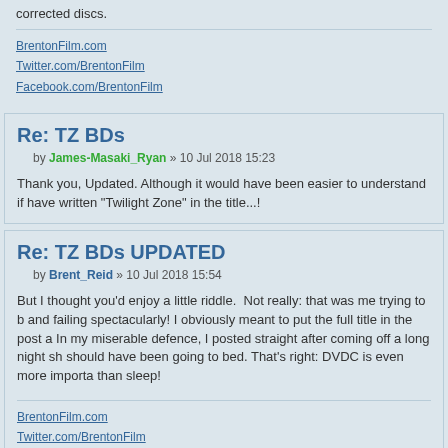corrected discs.
BrentonFilm.com
Twitter.com/BrentonFilm
Facebook.com/BrentonFilm
Re: TZ BDs
by James-Masaki_Ryan » 10 Jul 2018 15:23
Thank you, Updated. Although it would have been easier to understand if have written "Twilight Zone" in the title...!
Re: TZ BDs UPDATED
by Brent_Reid » 10 Jul 2018 15:54
But I thought you'd enjoy a little riddle.  Not really: that was me trying to b and failing spectacularly! I obviously meant to put the full title in the post a In my miserable defence, I posted straight after coming off a long night sh should have been going to bed. That's right: DVDC is even more importa than sleep!
BrentonFilm.com
Twitter.com/BrentonFilm
Facebook.com/BrentonFilm